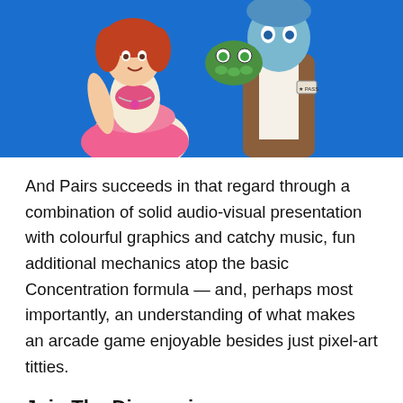[Figure (illustration): Colorful cartoon/anime-style illustration on bright blue background, showing a female character in a pink/white dress and a taller character in a brown coat holding a green vegetable creature]
And Pairs succeeds in that regard through a combination of solid audio-visual presentation with colourful graphics and catchy music, fun additional mechanics atop the basic Concentration formula — and, perhaps most importantly, an understanding of what makes an arcade game enjoyable besides just pixel-art titties.
Join The Discussion
Rice Digital Discord
Rice Digital Twitter
Rice Digital Facebook